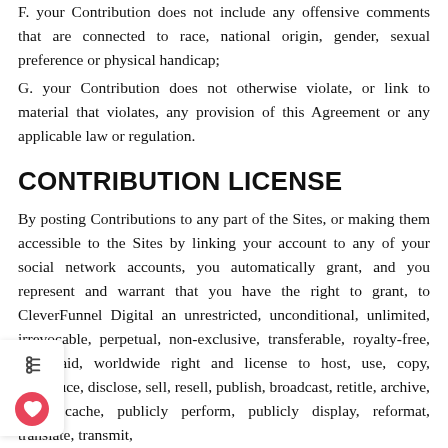F. your Contribution does not include any offensive comments that are connected to race, national origin, gender, sexual preference or physical handicap;
G. your Contribution does not otherwise violate, or link to material that violates, any provision of this Agreement or any applicable law or regulation.
CONTRIBUTION LICENSE
By posting Contributions to any part of the Sites, or making them accessible to the Sites by linking your account to any of your social network accounts, you automatically grant, and you represent and warrant that you have the right to grant, to CleverFunnel Digital an unrestricted, unconditional, unlimited, irrevocable, perpetual, non-exclusive, transferable, royalty-free, fully-paid, worldwide right and license to host, use, copy, reproduce, disclose, sell, resell, publish, broadcast, retitle, archive, store, cache, publicly perform, publicly display, reformat, translate, transmit,